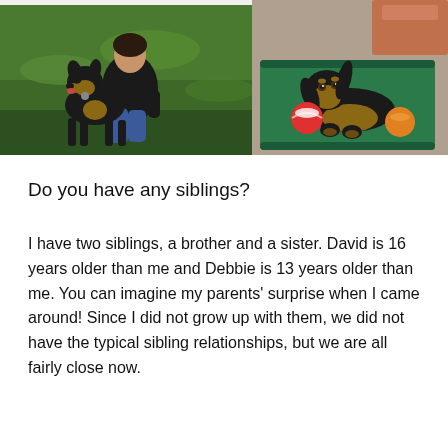[Figure (photo): Left photo: a person kneeling on grass with a large black and tan dog (appears to be a Doberman or similar breed). Right photo: a black and tan dachshund puppy lying on a green mat with colorful balls.]
Do you have any siblings?
I have two siblings, a brother and a sister.  David is 16 years older than me and Debbie is 13 years older than me.  You can imagine my parents' surprise when I came around!  Since I did not grow up with them, we did not have the typical sibling relationships, but we are all fairly close now.